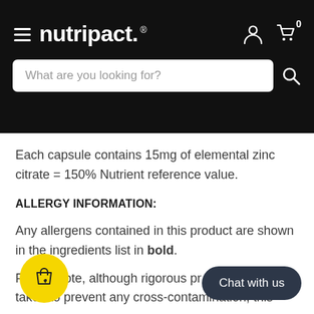nutripact.
Each capsule contains 15mg of elemental zinc citrate = 150% Nutrient reference value.
ALLERGY INFORMATION:
Any allergens contained in this product are shown in the ingredients list in bold.
Please note, although rigorous precautions are taken to prevent any cross-contamination, this